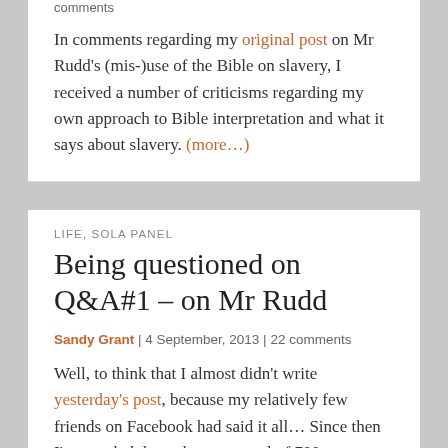comments
In comments regarding my original post on Mr Rudd's (mis-)use of the Bible on slavery, I received a number of criticisms regarding my own approach to Bible interpretation and what it says about slavery. (more…)
LIFE, SOLA PANEL
Being questioned on Q&A#1 – on Mr Rudd
Sandy Grant | 4 September, 2013 | 22 comments
Well, to think that I almost didn't write yesterday's post, because my relatively few friends on Facebook had said it all… Since then I've trawled through over a total of 700 comments (and counting), between this blog, the Drum (on ABC) and various friends' FB